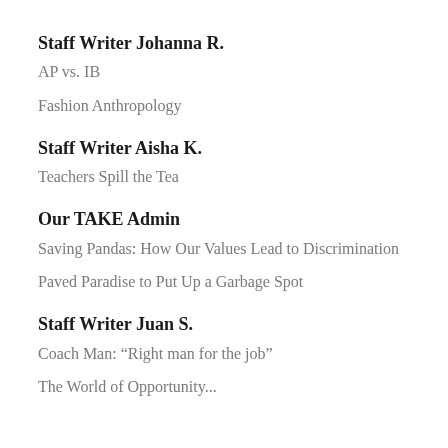Staff Writer Johanna R.
AP vs. IB
Fashion Anthropology
Staff Writer Aisha K.
Teachers Spill the Tea
Our TAKE Admin
Saving Pandas: How Our Values Lead to Discrimination
Paved Paradise to Put Up a Garbage Spot
Staff Writer Juan S.
Coach Man: “Right man for the job”
The World of Opportunity...